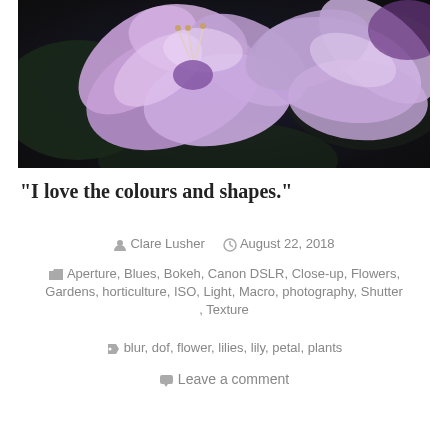[Figure (photo): Close-up macro photograph of purple/lavender lily flowers with bokeh background, dark green foliage behind the blossoms]
“I love the colours and shapes.”
Clare Lusher   August 22, 2018
Aperture, Blues, Bokeh, Canon DSLR, Close-up, Flowers, Gardens, horticulture, ISO, Light, Macro, photography, Shutter, Texture
blur, dof, flower, lilies, lily, petal, plants
Leave a comment